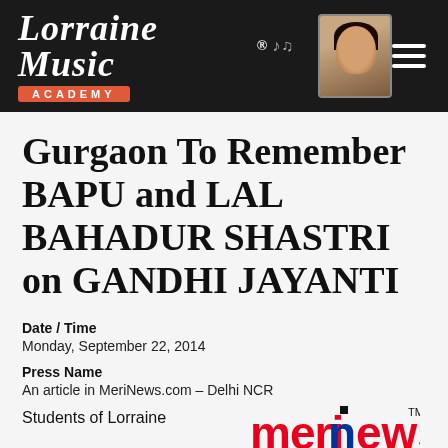[Figure (logo): Lorraine Music Academy header logo with photo of instructor on dark background]
Gurgaon To Remember BAPU and LAL BAHADUR SHASTRI on GANDHI JAYANTI
Date / Time
Monday, September 22, 2014
Press Name
An article in MeriNews.com – Delhi NCR
Students of Lorraine
[Figure (logo): MeriNews logo in red with blue 'i' and TM mark]